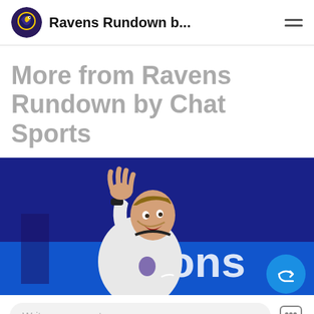Ravens Rundown b...
More from Ravens Rundown by Chat Sports
[Figure (photo): A football player in a white Ravens uniform celebrating with hand raised showing fingers, mouth open, with blue stadium background and 'Lions' signage visible]
Write a comment...